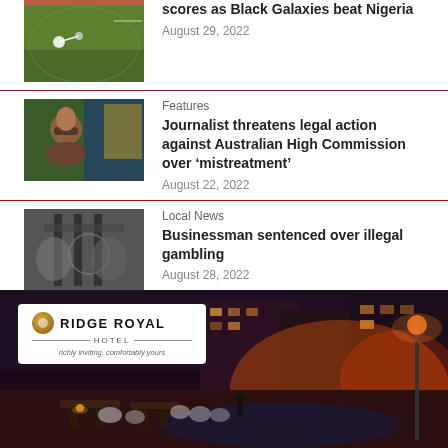[Figure (photo): Soccer players on a field during a match]
scores as Black Galaxies beat Nigeria
August 29, 2022
Features
[Figure (photo): Woman smiling with flags in background]
Journalist threatens legal action against Australian High Commission over ‘mistreatment’
August 22, 2022
Local News
[Figure (photo): Hands gripping prison cell bars]
Businessman sentenced over illegal gambling
August 28, 2022
[Figure (photo): Ridge Royal Hotel outdoor banquet event at dusk with lights, pool area and hotel branding logo]